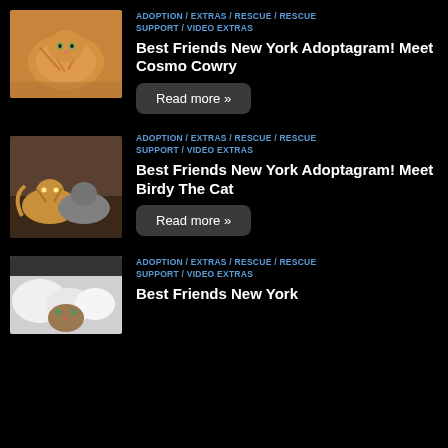[Figure (photo): Orange tabby cat lying on a light-colored surface, photo thumbnail]
ADOPTION / EXTRAS / RESCUE / RESCUE SUPPORT / VIDEO EXTRAS
Best Friends New York Adoptagram! Meet Cosmo Cowry
Read more »
[Figure (photo): Two cats lying together on a dark surface, photo thumbnail]
ADOPTION / EXTRAS / RESCUE / RESCUE SUPPORT / VIDEO EXTRAS
Best Friends New York Adoptagram! Meet Birdy The Cat
Read more »
[Figure (photo): Cat lying among white objects, photo thumbnail, partially visible]
ADOPTION / EXTRAS / RESCUE / RESCUE SUPPORT / VIDEO EXTRAS
Best Friends New York